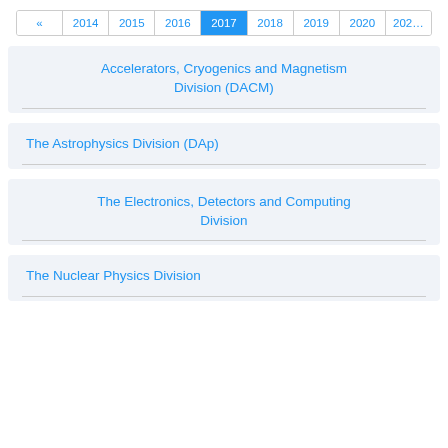« 2014 2015 2016 2017 2018 2019 2020 202…
Accelerators, Cryogenics and Magnetism Division (DACM)
The Astrophysics Division (DAp)
The Electronics, Detectors and Computing Division
The Nuclear Physics Division